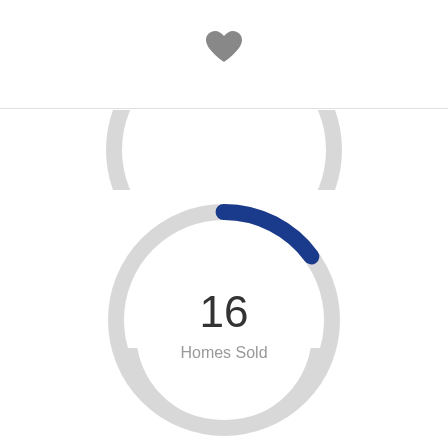[Figure (donut-chart): Partial donut chart showing 16 Homes Sold, with a blue arc and gray background ring]
[Figure (donut-chart): Top partial donut chart (cropped), gray ring visible at top of page]
[Figure (donut-chart): Bottom partial donut chart (cropped), gray ring with small blue arc visible at bottom of page]